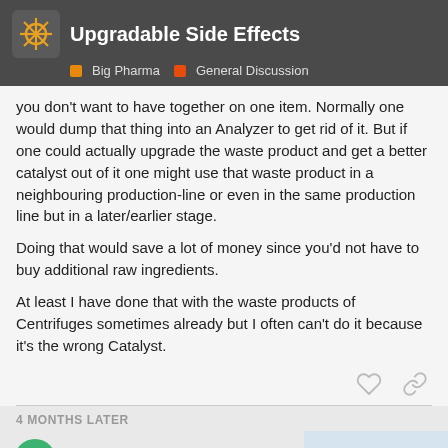Upgradable Side Effects — Big Pharma | General Discussion
you don't want to have together on one item. Normally one would dump that thing into an Analyzer to get rid of it. But if one could actually upgrade the waste product and get a better catalyst out of it one might use that waste product in a neighbouring production-line or even in the same production line but in a later/earlier stage.
Doing that would save a lot of money since you'd not have to buy additional raw ingredients.
At least I have done that with the waste products of Centrifuges sometimes already but I often can't do it because it's the wrong Catalyst.
4 MONTHS LATER
Frodock42
5 / 6